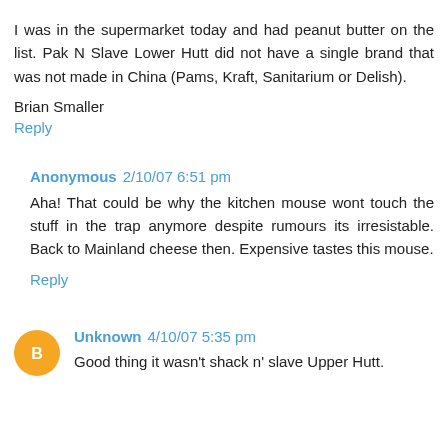I was in the supermarket today and had peanut butter on the list. Pak N Slave Lower Hutt did not have a single brand that was not made in China (Pams, Kraft, Sanitarium or Delish).
Brian Smaller
Reply
Anonymous 2/10/07 6:51 pm
Aha! That could be why the kitchen mouse wont touch the stuff in the trap anymore despite rumours its irresistable. Back to Mainland cheese then. Expensive tastes this mouse.
Reply
Unknown 4/10/07 5:35 pm
Good thing it wasn't shack n' slave Upper Hutt.